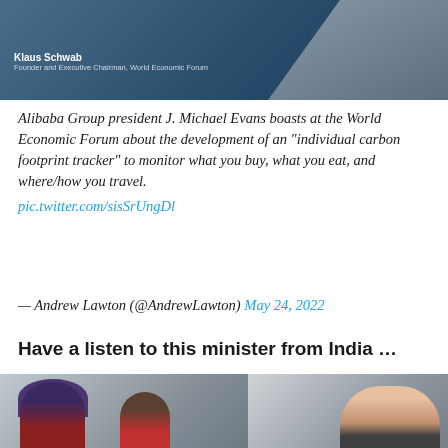[Figure (photo): Screenshot of a video or slide showing Klaus Schwab, Founder and Executive Chairman, World Economic Forum, with a dark blue background and a figure in a suit on the right side.]
Alibaba Group president J. Michael Evans boasts at the World Economic Forum about the development of an "individual carbon footprint tracker" to monitor what you buy, what you eat, and where/how you travel.
pic.twitter.com/sisSrUngDl
— Andrew Lawton (@AndrewLawton) May 24, 2022
Have a listen to this minister from India …
[Figure (photo): Photo of several people outdoors at what appears to be a public event or street. A man wearing a blue turban and glasses is prominent on the left, other people visible behind and to the right.]